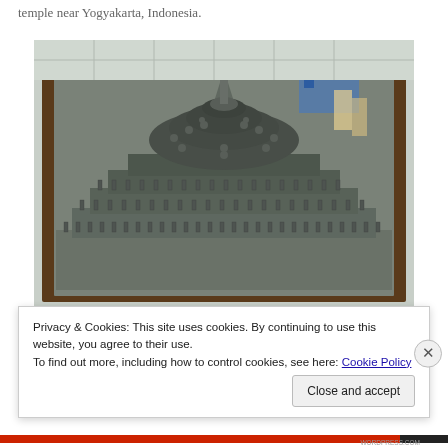temple near Yogyakarta, Indonesia.
[Figure (photo): A scale model of the Borobudur temple, a massive stone Buddhist stupa with tiered terraces and rows of small stupas, shown from above at an angle. The model sits on a dark wooden base. A blue flag or cloth is partially visible in the background.]
Privacy & Cookies: This site uses cookies. By continuing to use this website, you agree to their use.
To find out more, including how to control cookies, see here: Cookie Policy
Close and accept